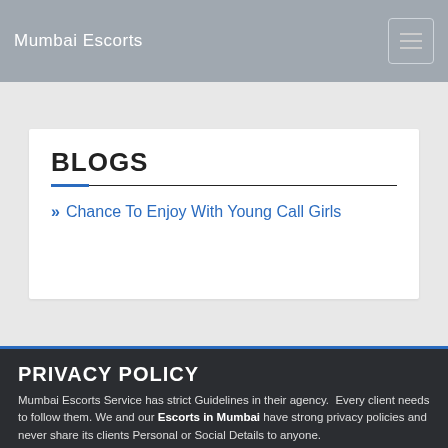Mumbai Escorts
BLOGS
» Chance To Enjoy With Young Call Girls
PRIVACY POLICY
Mumbai Escorts Service has strict Guidelines in their agency. Every client needs to follow them. We and our Escorts in Mumbai have strong privacy policies and never share its clients Personal or Social Details to anyone.